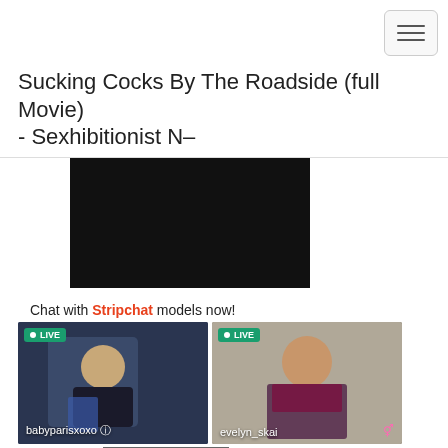Navigation menu button
Sucking Cocks By The Roadside (full Movie) - Sexhibitionist N–
[Figure (screenshot): Black video player thumbnail]
Chat with Stripchat models now!
[Figure (photo): LIVE model card: babyparisxoxo]
[Figure (photo): LIVE model card: evelyn_skai]
[Figure (photo): Partially visible third model photo at bottom]